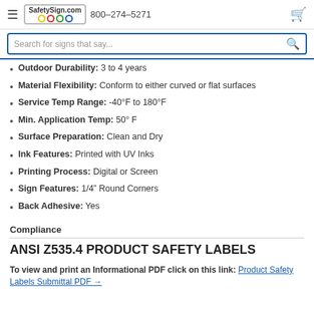SafetySign.com  800-274-5271
Search for signs that say...
Outdoor Durability: 3 to 4 years
Material Flexibility: Conform to either curved or flat surfaces
Service Temp Range: -40°F to 180°F
Min. Application Temp: 50° F
Surface Preparation: Clean and Dry
Ink Features: Printed with UV Inks
Printing Process: Digital or Screen
Sign Features: 1/4" Round Corners
Back Adhesive: Yes
Compliance
ANSI Z535.4 PRODUCT SAFETY LABELS
To view and print an Informational PDF click on this link: Product Safety Labels Submittal PDF →